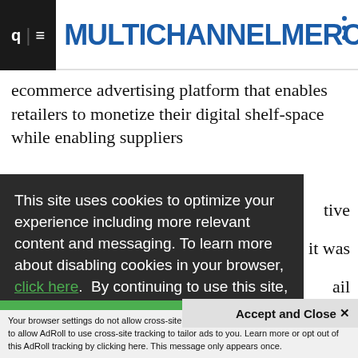MULTICHANNEL MERCHANT
ecommerce advertising platform that enables retailers to monetize their digital shelf-space while enabling suppliers
This site uses cookies to optimize your experience including more relevant content and messaging. To learn more about disabling cookies in your browser, click here. By continuing to use this site, you accept our use of cookies. For more information, view our updated Privacy Policy.
I CONSENT
Accept and Close ✕
Your browser settings do not allow cross-site tracking for advertising. Click on this page to allow AdRoll to use cross-site tracking to tailor ads to you. Learn more or opt out of this AdRoll tracking by clicking here. This message only appears once.